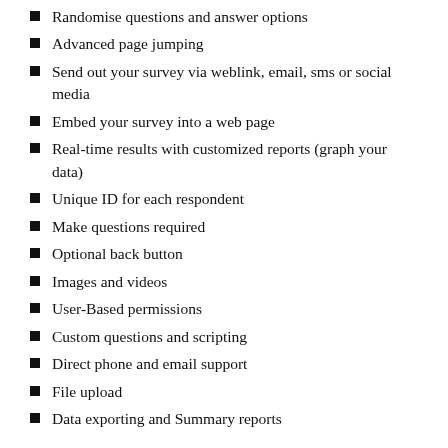Randomise questions and answer options
Advanced page jumping
Send out your survey via weblink, email, sms or social media
Embed your survey into a web page
Real-time results with customized reports (graph your data)
Unique ID for each respondent
Make questions required
Optional back button
Images and videos
User-Based permissions
Custom questions and scripting
Direct phone and email support
File upload
Data exporting and Summary reports
eCapture's survey software is flexible enough to build new features according to your needs. Contact eCapture for